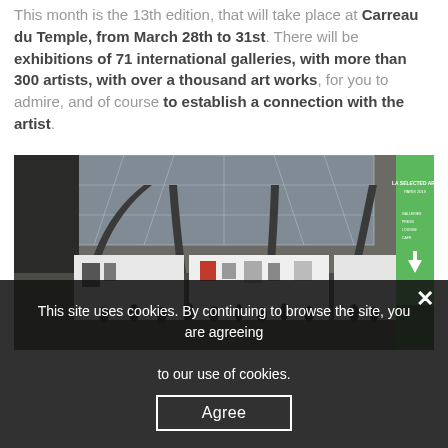This month is the 13th edition, that will take place at Carreau du Temple, from March 28th to 31st. There will be exhibitions of 71 international galleries, with more than 300 artists, with over a thousand art works, for you to admire, and of course to establish a connection with the artist.
[Figure (photo): Interior of Carreau du Temple, a large iron-and-glass hall used as an art fair venue. The photo shows the ornate iron arched structure and glass ceiling, with exhibition booths below and visitors walking among them. A green sign on the right shows event information with a downward arrow.]
This site uses cookies. By continuing to browse the site, you are agreeing to our use of cookies.